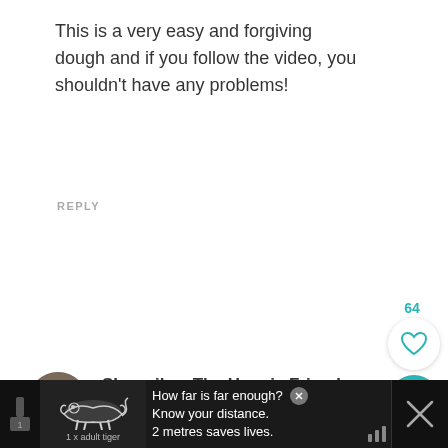This is a very easy and forgiving dough and if you follow the video, you shouldn't have any problems!
REPLY
64
Sharmila – The Happie Friends Potpourri Corner
August 30, 2017 at 6:53 am
Bread has come out so perfect.. Awesome Share
[Figure (screenshot): Advertisement banner at bottom: tiger image with text 'How far is far enough? Know your distance. 2 metres saves lives. 1x adult tiger']